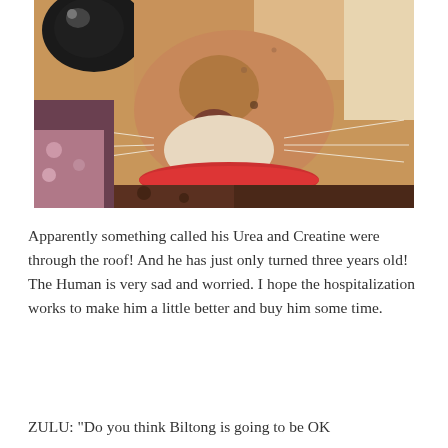[Figure (photo): Close-up photograph of an orange/tan cat with a red collar, lying down on a patterned fabric surface. The cat's face fills most of the frame, showing its nose, whiskers, and one eye.]
Apparently something called his Urea and Creatine were through the roof! And he has just only turned three years old! The Human is very sad and worried. I hope the hospitalization works to make him a little better and buy him some time.
ZULU: "Do you think Biltong is going to be OK